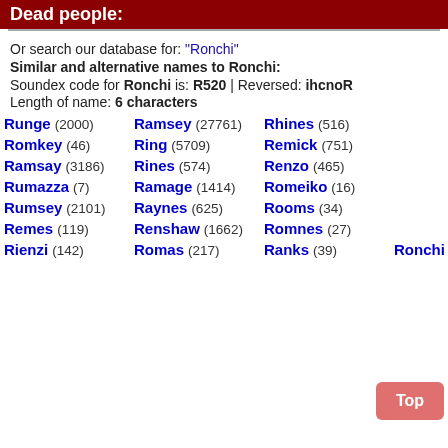Dead people:
Or search our database for: "Ronchi"
Similar and alternative names to Ronchi:
Soundex code for Ronchi is: R520 | Reversed: ihcnoR
Length of name: 6 characters
Runge (2000)   Ramsey (27761)   Rhines (516)
Romkey (46)   Ring (5709)   Remick (751)
Ramsay (3186)   Rines (574)   Renzo (465)
Rumazza (7)   Ramage (1414)   Romeiko (16)
Rumsey (2101)   Raynes (625)   Rooms (34)
Remes (119)   Renshaw (1662)   Romnes (27)
Rienzi (142)   Romas (217)   Ranks (39)   Ronchi (79)